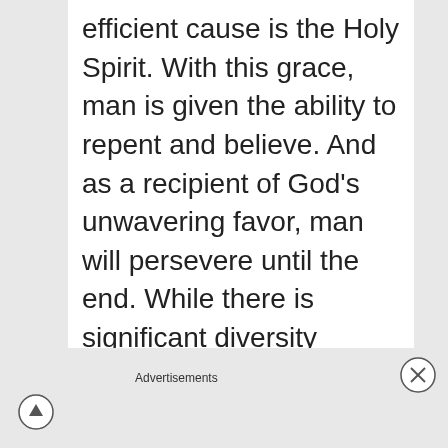efficient cause is the Holy Spirit. With this grace, man is given the ability to repent and believe. And as a recipient of God's unwavering favor, man will persevere until the end. While there is significant diversity among the Puritan heirs of this Reformed view of grace (for instance, there were strong Calvinists like Thomas Goodwin, moderate Calvinists like Richard Baxter, and Aminian Calvinists like...
Advertisements